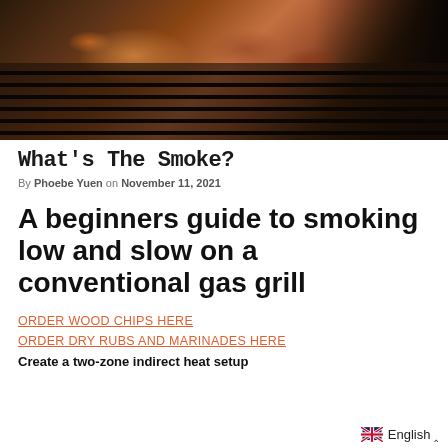[Figure (photo): Close-up photo of smoked meat ribs on a dark iron grill grate, with char marks and smoky appearance against a dark background]
What's The Smoke?
By Phoebe Yuen on November 11, 2021
A beginners guide to smoking low and slow on a conventional gas grill
ORDER WOOD CHIPS HERE
ORDER DRY RUBS AND MARINADES HERE
Create a two-zone indirect heat setup
English